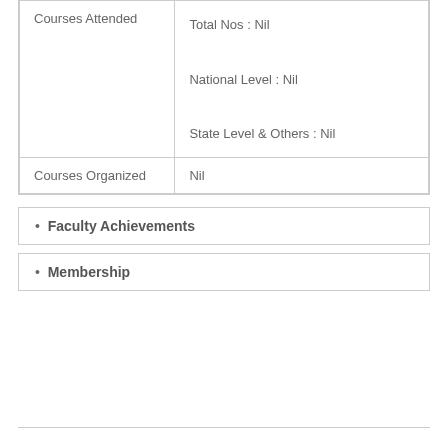| Courses Attended | Total Nos : Nil
National Level : Nil
State Level & Others : Nil |
| Courses Organized | Nil |
Faculty Achievements
Membership